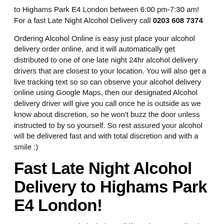to Highams Park E4 London between 6:00 pm-7:30 am! For a fast Late Night Alcohol Delivery call 0203 608 7374
Ordering Alcohol Online is easy just place your alcohol delivery order online, and it will automatically get distributed to one of one late night 24hr alcohol delivery drivers that are closest to your location. You will also get a live tracking text so so can observe your alcohol delivery online using Google Maps, then our designated Alcohol delivery driver will give you call once he is outside as we know about discretion, so he won't buzz the door unless instructed to by so yourself. So rest assured your alcohol will be delivered fast and with total discretion and with a smile :)
Fast Late Night Alcohol Delivery to Highams Park E4 London!
We guess you need alcohol? Well if you happen to live in Highams Park E4 London, we can help. At 24 Hr Drinks, we offer the same day / 24-hour alcohol delivery service to Highams Park E4 London that's alcohol delivery near you! Yes, late-night alcohol & Drinks